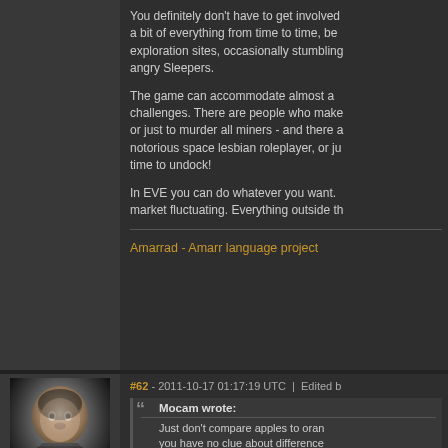You definitely don't have to get involved a bit of everything from time to time, be exploration sites, occasionally stumbling angry Sleepers.
The game can accommodate almost a challenges. There are people who make or just to murder all miners - and there a notorious space lesbian roleplayer, or ju time to undock!
In EVE you can do whatever you want. market fluctuating. Everything outside th
Amarrad - Amarr language project
#62 - 2011-10-17 01:17:19 UTC  |  Edited b
[Figure (photo): Avatar portrait of a male character with short brown hair, realistic 3D rendering against a dark background with light glow effect]
Mocam wrote:
Just don't compare apples to oran you have no clue about difference